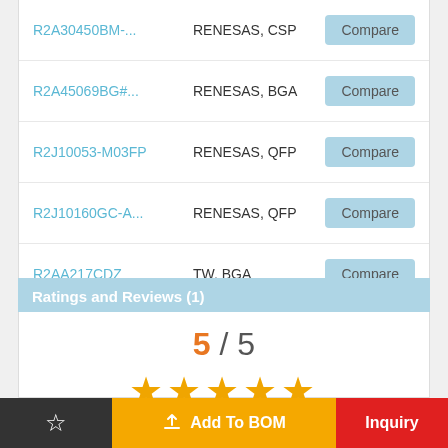R2A30450BM-...  RENESAS, CSP  Compare
R2A45069BG#...  RENESAS, BGA  Compare
R2J10053-M03FP  RENESAS, QFP  Compare
R2J10160GC-A...  RENESAS, QFP  Compare
R2AA217CDZ  TW, BGA  Compare
Ratings and Reviews (1)
5 / 5
[Figure (other): Five orange star rating icons]
★  Add To BOM  Inquiry